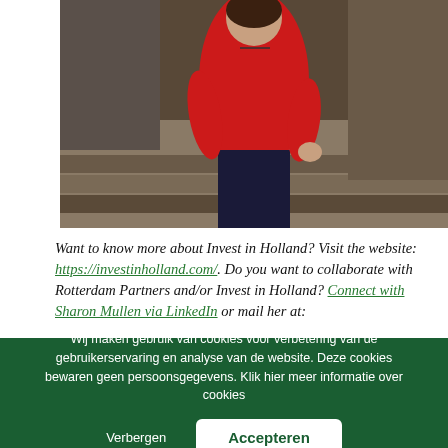[Figure (photo): A person wearing a red top and dark trousers standing in front of steps and a glass building interior.]
Want to know more about Invest in Holland? Visit the website: https://investinholland.com/. Do you want to collaborate with Rotterdam Partners and/or Invest in Holland? Connect with Sharon Mullen via LinkedIn or mail her at:
Wij maken gebruik van cookies voor verbetering van de gebruikerservaring en analyse van de website. Deze cookies bewaren geen persoonsgegevens. Klik hier meer informatie over cookies
Verbergen
Accepteren